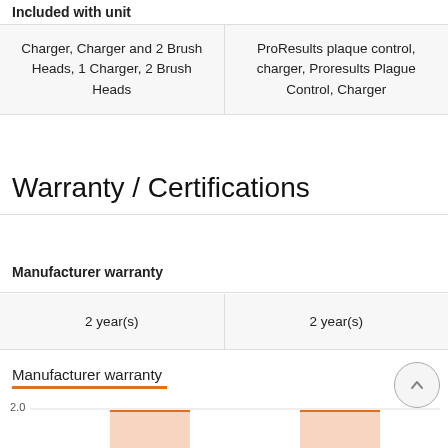Included with unit
| Charger, Charger and 2 Brush Heads, 1 Charger, 2 Brush Heads | ProResults plaque control, charger, Proresults Plague Control, Charger |
Warranty / Certifications
Manufacturer warranty
| 2 year(s) | 2 year(s) |
Manufacturer warranty
[Figure (bar-chart): Manufacturer warranty]